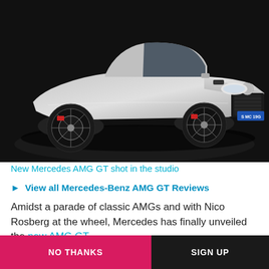[Figure (photo): Silver Mercedes AMG GT sports car photographed in a studio against a dark background. The car faces right, showing its front three-quarter view with the license plate 'S MC 19G'.]
New Mercedes AMG GT shot in the studio
▶ View all Mercedes-Benz AMG GT Reviews
Amidst a parade of classic AMGs and with Nico Rosberg at the wheel, Mercedes has finally unveiled the new AMG GT
CAR magazine notifications
Sign up for all the latest breaking news, new-car alerts and the best electric buying advice
NO THANKS
SIGN UP